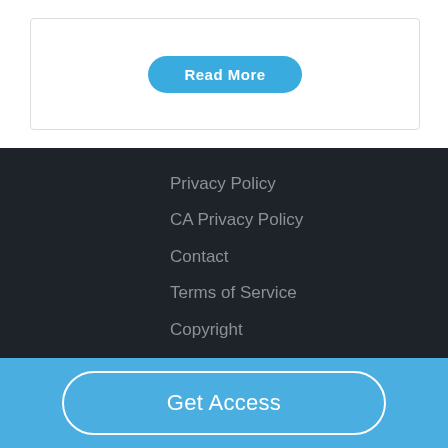Read More
Privacy Policy
CA Privacy Policy
Contact
Terms of Service
Copyright
Get Access